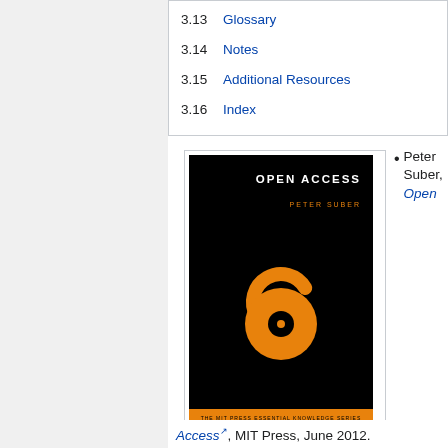3.13  Glossary
3.14  Notes
3.15  Additional Resources
3.16  Index
[Figure (photo): Book cover of 'Open Access' by Peter Suber, MIT Press Essential Knowledge Series. Black background with orange open-access padlock logo.]
Peter Suber, Open Access, MIT Press, June 2012.